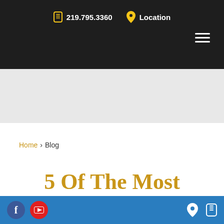219.795.3360  Location
Home › Blog
5 Of The Most
Facebook  YouTube  Location  Phone